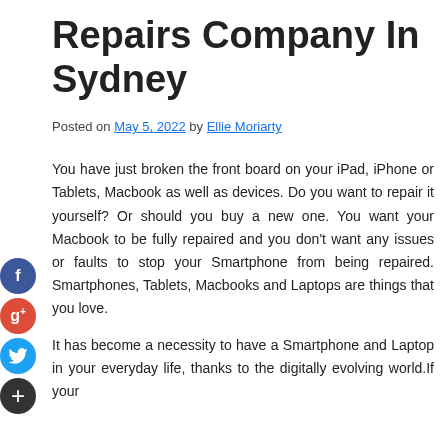Repairs Company In Sydney
Posted on May 5, 2022 by Ellie Moriarty
You have just broken the front board on your iPad, iPhone or Tablets, Macbook as well as devices. Do you want to repair it yourself? Or should you buy a new one. You want your Macbook to be fully repaired and you don't want any issues or faults to stop your Smartphone from being repaired. Smartphones, Tablets, Macbooks and Laptops are things that you love.
It has become a necessity to have a Smartphone and Laptop in your everyday life, thanks to the digitally evolving world.If your